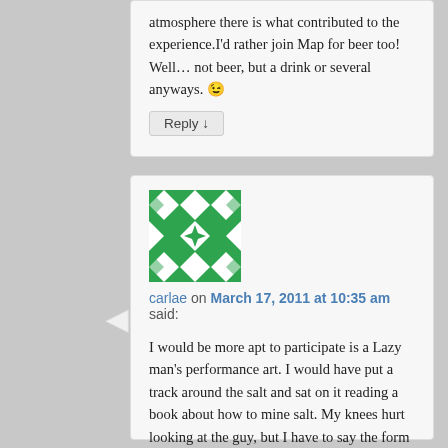atmosphere there is what contributed to the experience.I'd rather join Map for beer too! Well… not beer, but a drink or several anyways. 😉
Reply ↓
[Figure (illustration): Green and white geometric avatar/identicon with diamond and star patterns]
carlae on March 17, 2011 at 10:35 am said:
I would be more apt to participate is a Lazy man's performance art. I would have put a track around the salt and sat on it reading a book about how to mine salt. My knees hurt looking at the guy, but I have to say the form is striking.
Reply ↓